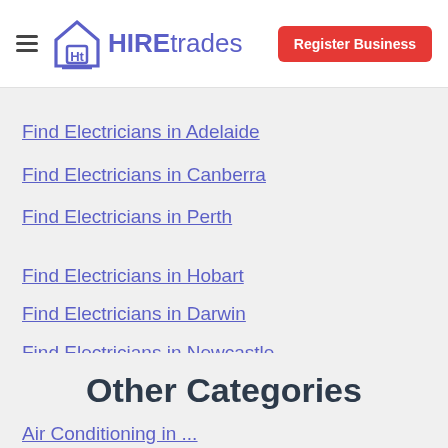HIREtrades — Register Business
Find Electricians in Adelaide
Find Electricians in Canberra
Find Electricians in Perth
Find Electricians in Hobart
Find Electricians in Darwin
Find Electricians in Newcastle
Other Categories
Air Conditioning in ...